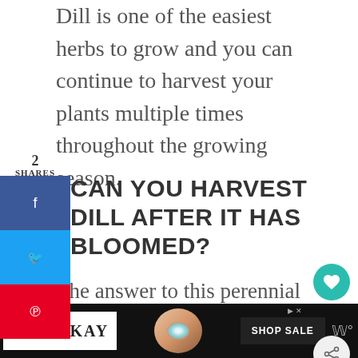Dill is one of the easiest herbs to grow and you can continue to harvest your plants multiple times throughout the growing season.
2
SHARES
CAN YOU HARVEST DILL AFTER IT HAS BLOOMED?
The answer to this perennial question is yes and no. Once your dill plants have bloomed, they are going to die. That's
[Figure (other): Advertisement banner for Le Vian at Kay Jewelers featuring a ring with opal stone and Shop Sale button]